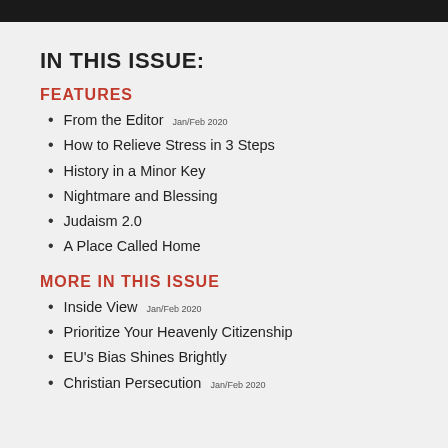IN THIS ISSUE:
FEATURES
From the Editor Jan/Feb 2020
How to Relieve Stress in 3 Steps
History in a Minor Key
Nightmare and Blessing
Judaism 2.0
A Place Called Home
MORE IN THIS ISSUE
Inside View Jan/Feb 2020
Prioritize Your Heavenly Citizenship
EU's Bias Shines Brightly
Christian Persecution Jan/Feb 2020